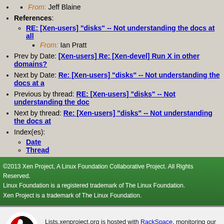From: Jeff Blaine
References:
RE: [Xen-users] "disks" -- Not understanding the docs at all
From: Ian Pratt
Prev by Date: [Xen-users] Re: [Xen-devel] Run X in other domains?
Next by Date: Re: [Xen-users] "disks" -- Not understanding the docs at a
Previous by thread: RE: [Xen-users] "disks" -- Not understanding the doc
Next by thread: Re: [Xen-users] "disks" -- Not understanding the docs at
Index(es):
Date
Thread
©2013 Xen Project, A Linux Foundation Collaborative Project. All Rights Reserved. Linux Foundation is a registered trademark of The Linux Foundation. Xen Project is a trademark of The Linux Foundation.
Lists.xenproject.org is hosted with RackSpace, monitoring our servers 24x7x365 and backed by RackSpace's Fanatical Support®.